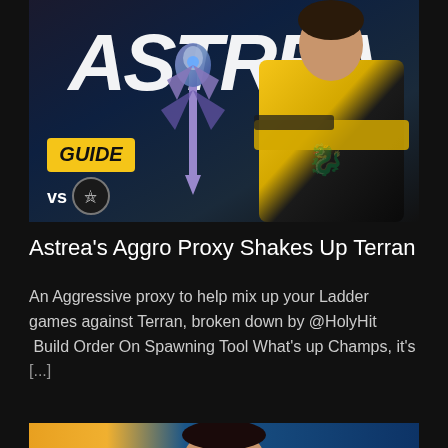[Figure (photo): Gaming thumbnail image showing 'ASTREA' in large white text, a 'GUIDE' badge in yellow, 'vs' with a terran icon, a StarCraft 2 artifact weapon, and a player in a yellow and black esports jersey with arms crossed.]
Astrea's Aggro Proxy Shakes Up Terran
An Aggressive proxy to help mix up your Ladder games against Terran, broken down by @HolyHit  Build Order On Spawning Tool What's up Champs, it's [...]
[Figure (photo): Partially visible gaming thumbnail at the bottom of the page, showing a blue background and the top of a person's head.]